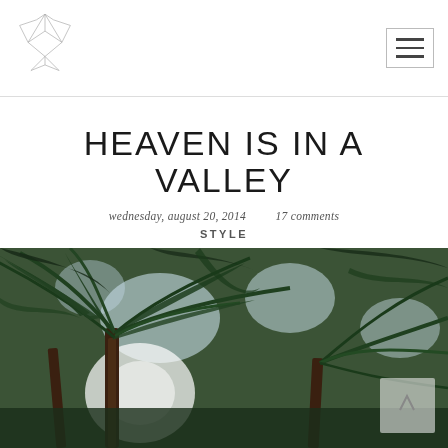Heaven Is In A Valley — Blog header with logo and navigation
HEAVEN IS IN A VALLEY
wednesday, august 20, 2014   17 comments
STYLE
[Figure (photo): Looking up through dense tropical palm tree canopy, sunlight filtering through green fronds against a bright sky]